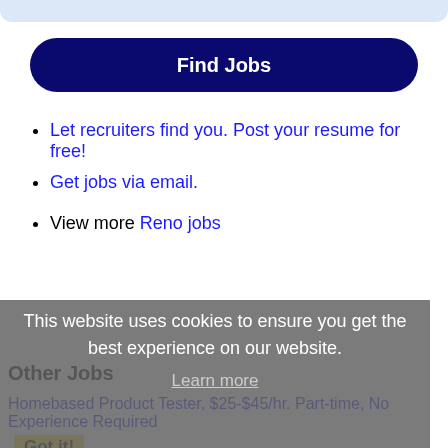[Figure (screenshot): Top decorative bar in light blue]
Find Jobs
Let recruiters find you. Post your resume for free!
Get jobs via email.
View more Reno jobs
Other Jobs
This website uses cookies to ensure you get the best experience on our website.
Learn more
Homebased Product Tester, $25-$45/hr. Part-time, No Experience Required   Got it!
Description: In-Home Usage Tester Product Tester from home Compensation: 25- 45/hrPart-time, No Experience RequiredWe're recruiting Product Testers to work from home nationwide in the US